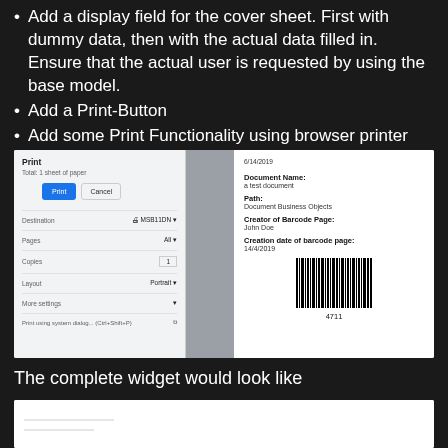Add a display field for the cover sheet. First with dummy data, then with the actual data filled in. Ensure that the actual user is requested by using the base model.
Add a Print-Button
Add some Print Functionality using browser printer capabilities
[Figure (screenshot): Browser print dialog on the left showing Print, Cancel buttons, Destination: MSB11DN, Pages: All, Copies: 1, Layout: Portrait, More settings, Print using system dialog; a gray separator panel; and a document preview on the right showing date 6/14/2019, Document Name: a test document, Path: Document Business Objects, Creator of Barcode Page: John Doe, Creation date of barcode page: 14/4/2019, and a barcode with number 4711.]
The complete widget would look like
[Figure (screenshot): Bottom partial screenshot of the complete widget.]